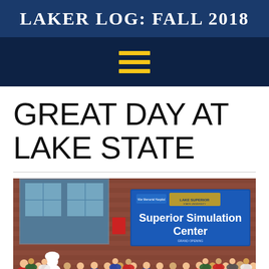LAKER LOG: FALL 2018
[Figure (other): Hamburger/menu icon with three horizontal yellow bars on dark navy background]
GREAT DAY AT LAKE STATE
[Figure (photo): Group photo of people including a mascot standing in front of a brick building with a blue banner reading 'Superior Simulation Center' with Lake Superior State University logo]